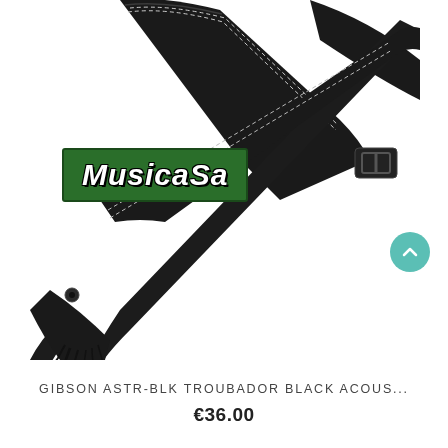[Figure (photo): Black Gibson Troubadour guitar strap crossed over itself showing the Gibson logo script, with leather tassels at the bottom end. A Musicasa green logo overlay is visible on the left side.]
GIBSON ASTR-BLK TROUBADOR BLACK ACOUS...
€36.00